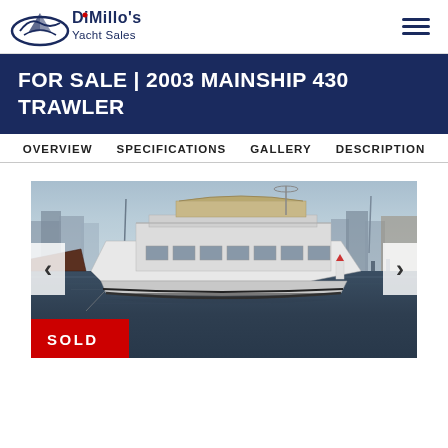DiMillo's Yacht Sales
FOR SALE | 2003 MAINSHIP 430 TRAWLER
OVERVIEW  SPECIFICATIONS  GALLERY  DESCRIPTION
[Figure (photo): A white 2003 Mainship 430 Trawler motor yacht moored at a marina with buildings and other boats visible in the background. A SOLD badge appears in the lower-left corner of the image. Navigation arrows on left and right sides of the image.]